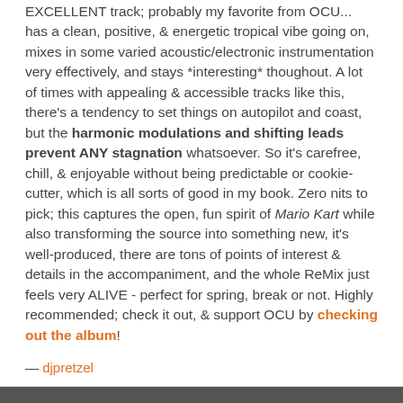EXCELLENT track; probably my favorite from OCU... has a clean, positive, & energetic tropical vibe going on, mixes in some varied acoustic/electronic instrumentation very effectively, and stays *interesting* thoughout. A lot of times with appealing & accessible tracks like this, there's a tendency to set things on autopilot and coast, but the harmonic modulations and shifting leads prevent ANY stagnation whatsoever. So it's carefree, chill, & enjoyable without being predictable or cookie-cutter, which is all sorts of good in my book. Zero nits to pick; this captures the open, fun spirit of Mario Kart while also transforming the source into something new, it's well-produced, there are tons of points of interest & details in the accompaniment, and the whole ReMix just feels very ALIVE - perfect for spring, break or not. Highly recommended; check it out, & support OCU by checking out the album!
— djpretzel